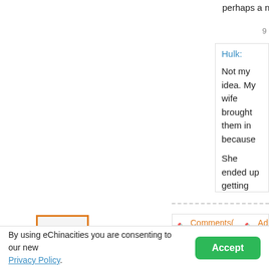perhaps a nanny with 'attachments' should be...
9
Hulk:
Not my idea. My wife brought them in because
She ended up getting pissed at me for not wanting to play with them after work (I like to relax), but she went nuts on... Peace of mind!
9
Comments( 1 )  Add Comment
I have somewhat of the same problem, when ever I... holding another job while the wife watches her shows... smartphone. When it gets to bad, I do this, go f**k y...
techezee
Posts: 1008
Shiftu
By using eChinacities you are consenting to our new Privacy Policy.
Accept